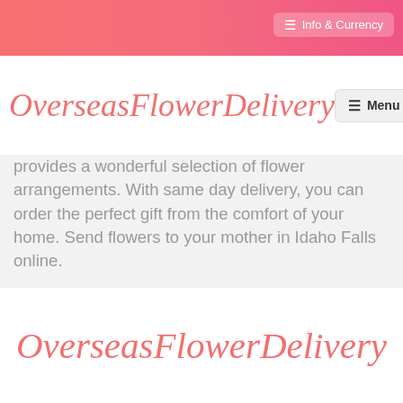Info & Currency
OverseasFlowerDelivery
provides a wonderful selection of flower arrangements. With same day delivery, you can order the perfect gift from the comfort of your home. Send flowers to your mother in Idaho Falls online.
[Figure (logo): OverseasFlowerDelivery cursive script logo in coral/salmon pink color at the bottom of the page]